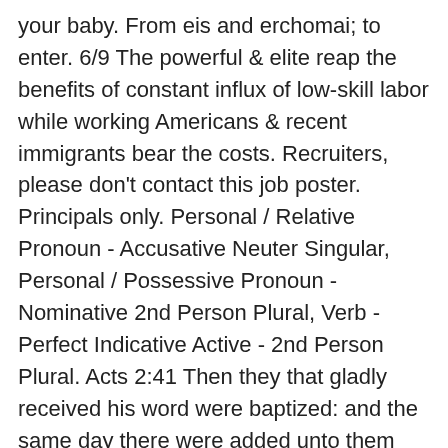your baby. From eis and erchomai; to enter. 6/9 The powerful & elite reap the benefits of constant influx of low-skill labor while working Americans & recent immigrants bear the costs. Recruiters, please don't contact this job poster. Principals only. Personal / Relative Pronoun - Accusative Neuter Singular, Personal / Possessive Pronoun - Nominative 2nd Person Plural, Verb - Perfect Indicative Active - 2nd Person Plural. Acts 2:41 Then they that gladly received his word were baptized: and the same day there were added unto them about three thousand souls. Or the plural may be chosen as in contrast with the plural ye, and as pointing to the general truth, while the immediate reference is to Christ only. to send out literally or figuratively. 7/9 Your Houston vignette seems more of an argument for local housing deregulation, not higher levels low-skill immigration. I was an only child until I was 15, so I was able to reap the benefit of that. Meditation and emotional well-being. It is fiscal